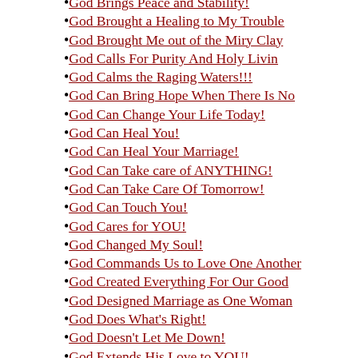God Brings Peace and Stability!
God Brought a Healing to My Trouble
God Brought Me out of the Miry Clay
God Calls For Purity And Holy Livin
God Calms the Raging Waters!!!
God Can Bring Hope When There Is No
God Can Change Your Life Today!
God Can Heal You!
God Can Heal Your Marriage!
God Can Take care of ANYTHING!
God Can Take Care Of Tomorrow!
God Can Touch You!
God Cares for YOU!
God Changed My Soul!
God Commands Us to Love One Another
God Created Everything For Our Good
God Designed Marriage as One Woman
God Does What's Right!
God Doesn't Let Me Down!
God Extends His Love to YOU!
God Extends His Love!
God filled Me With His Love!
God Forgives Us of Our Wrongs!
God Found Me!
God Gave His All!
God Gave his Best!
God Gave His Love
God Gave His Love To You!
God Gave His Mercy!
God Gave Jesus!